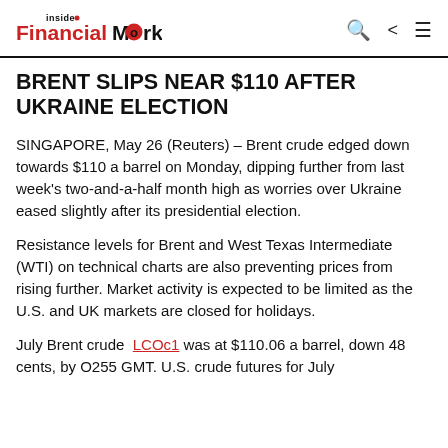inside Financial Markets
BRENT SLIPS NEAR $110 AFTER UKRAINE ELECTION
SINGAPORE, May 26 (Reuters) – Brent crude edged down towards $110 a barrel on Monday, dipping further from last week's two-and-a-half month high as worries over Ukraine eased slightly after its presidential election.
Resistance levels for Brent and West Texas Intermediate (WTI) on technical charts are also preventing prices from rising further. Market activity is expected to be limited as the U.S. and UK markets are closed for holidays.
July Brent crude LCOc1 was at $110.06 a barrel, down 48 cents, by O255 GMT. U.S. crude futures for July